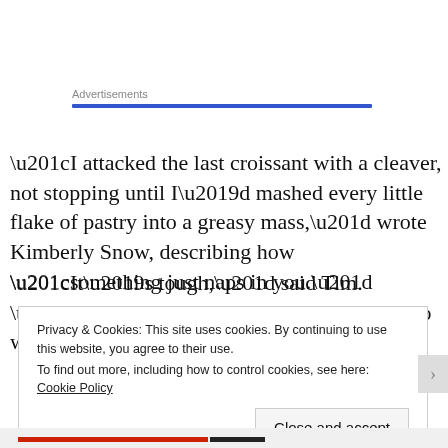Advertisements
“I attacked the last croissant with a cleaver, not stopping until I’d mashed every little flake of pastry into a greasy mass,” wrote Kimberly Snow, describing how “something just naps in you.”
“It’s tough,” said Tim. “Our guys work hard, so it’s hard to walk away, to not be here.”
Privacy & Cookies: This site uses cookies. By continuing to use this website, you agree to their use.
To find out more, including how to control cookies, see here: Cookie Policy
Close and accept